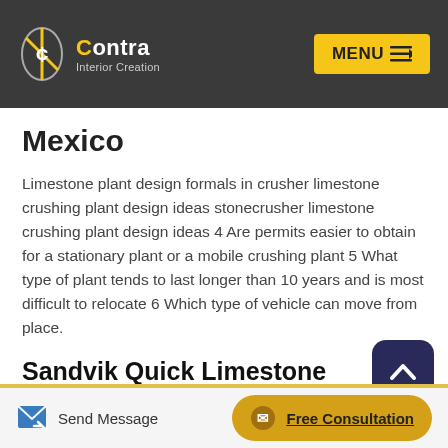Contra Interior Creation — MENU
Mexico
Limestone plant design formals in crusher limestone crushing plant design ideas stonecrusher limestone crushing plant design ideas 4 Are permits easier to obtain for a stationary plant or a mobile crushing plant 5 What type of plant tends to last longer than 10 years and is most difficult to relocate 6 Which type of vehicle can move from place.
Sandvik Quick Limestone Crusher Plant
Aug 09 2021 Sandvik Manufacturer of All kinds of Stone Crushing Equipment Accessories and Turnkey Plants
Send Message   Free Consultation